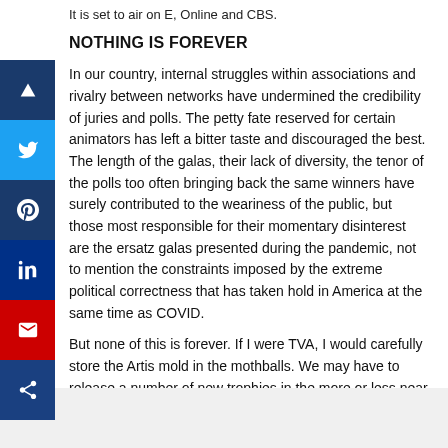It is set to air on E, Online and CBS.
NOTHING IS FOREVER
In our country, internal struggles within associations and rivalry between networks have undermined the credibility of juries and polls. The petty fate reserved for certain animators has left a bitter taste and discouraged the best. The length of the galas, their lack of diversity, the tenor of the polls too often bringing back the same winners have surely contributed to the weariness of the public, but those most responsible for their momentary disinterest are the ersatz galas presented during the pandemic, not to mention the constraints imposed by the extreme political correctness that has taken hold in America at the same time as COVID.
But none of this is forever. If I were TVA, I would carefully store the Artis mold in the mothballs. We may have to release a number of new trophies in the more or less near future.